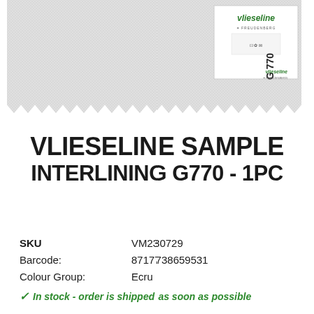[Figure (photo): A fabric swatch sample with zigzag/pinked edges showing a light grey/ecru woven material. A product label is visible on the top right showing the Vlieseline brand name (in green italic) and Freudenberg logo, with product code G 770 rotated 90 degrees.]
VLIESELINE SAMPLE INTERLINING G770 - 1PC
SKU   VM230729
Barcode:   8717738659531
Colour Group:   Ecru
✓ In stock - order is shipped as soon as possible